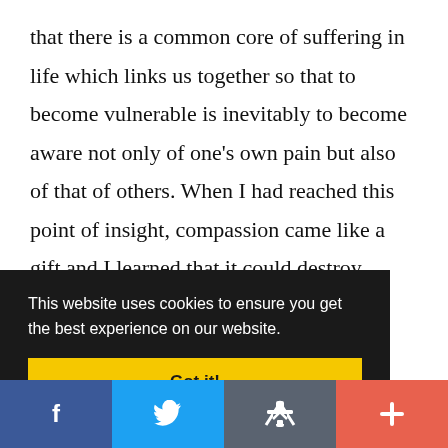that there is a common core of suffering in life which links us together so that to become vulnerable is inevitably to become aware not only of one's own pain but also of that of others. When I had reached this point of insight, compassion came like a gift and I learned that it could destroy bitterness and paralysis. Behind pain lies
ht
This website uses cookies to ensure you get the best experience on our website.
Got it!
[Figure (infographic): Social media share bar at bottom with Facebook (blue), Twitter (light blue), share/email (grey), and add/plus (red-orange) buttons]